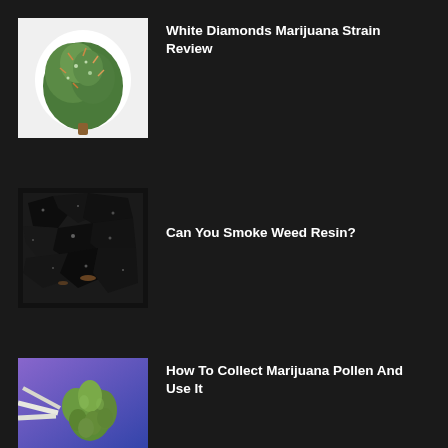[Figure (photo): Close-up photo of a green cannabis bud on white background]
White Diamonds Marijuana Strain Review
[Figure (photo): Close-up photo of dark black weed resin chunks]
Can You Smoke Weed Resin?
[Figure (photo): Close-up photo of green cannabis pollen sacs against purple/blue background]
How To Collect Marijuana Pollen And Use It